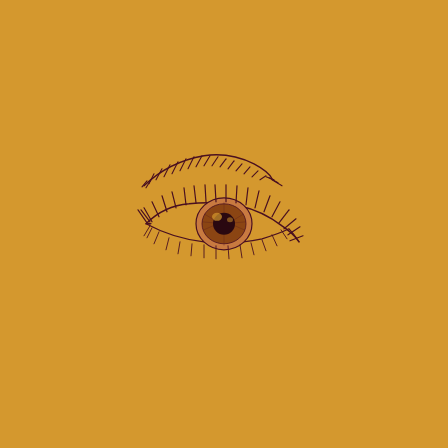[Figure (illustration): A hand-drawn sketch illustration of a human eye with detailed eyelashes and an eyebrow above it, rendered in dark brown lines on a warm golden/amber background. The eye is open with a detailed iris showing light reflections. Upper and lower lashes are prominent. The eyebrow above is drawn with fine hatching strokes. The illustration is positioned slightly left of center and in the upper-middle area of the page.]